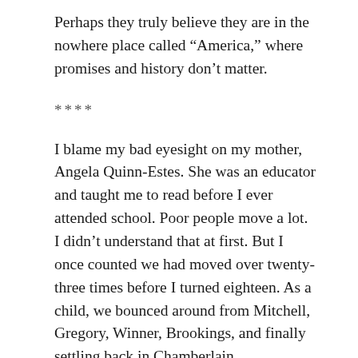Perhaps they truly believe they are in the nowhere place called “America,” where promises and history don’t matter.
****
I blame my bad eyesight on my mother, Angela Quinn-Estes. She was an educator and taught me to read before I ever attended school. Poor people move a lot. I didn’t understand that at first. But I once counted we had moved over twenty-three times before I turned eighteen. As a child, we bounced around from Mitchell, Gregory, Winner, Brookings, and finally settling back in Chamberlain. Everywhere we went, I had books because we had libraries. I was consumed with books and